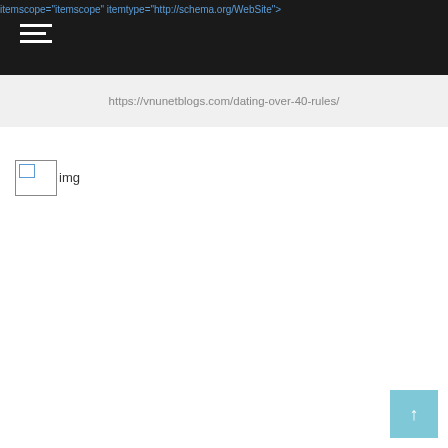itemscope="itemscope" itemtype="http://schema.org/WebSite">
https://vnunetblogs.com/dating-over-40-rules/
[Figure (photo): Broken image placeholder labeled 'img']
↑